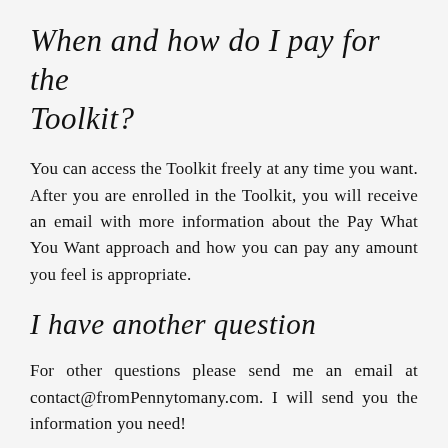When and how do I pay for the Toolkit?
You can access the Toolkit freely at any time you want. After you are enrolled in the Toolkit, you will receive an email with more information about the Pay What You Want approach and how you can pay any amount you feel is appropriate.
I have another question
For other questions please send me an email at contact@fromPennytomany.com. I will send you the information you need!